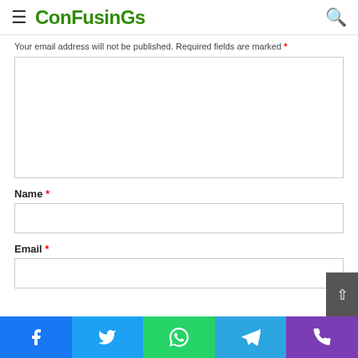ConFusinGs
Your email address will not be published. Required fields are marked *
Name *
Email *